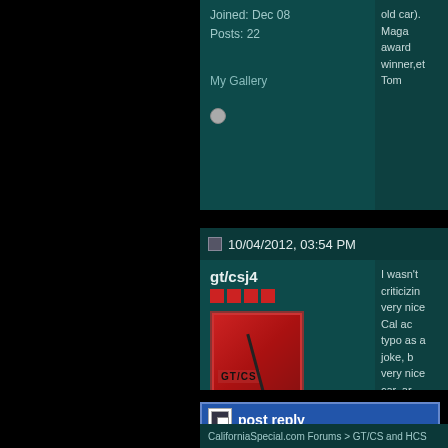Joined: Dec 08
Posts: 22
My Gallery
10/04/2012, 03:54 PM
gt/csj4
[Figure (photo): Avatar image showing red car with GT/CS badge]
Location: Westminster,CO
Joined: Jul 12
eBay: jtot8126
Posts: 344
My Garage
I wasn't criticizin very nice Cal ac typo as a joke, b very nice car, ar
Sense of humor Moving on
1967 GTA 289 2 1968 California
post reply
CaliforniaSpecial.com Forums > GT/CS and HCS